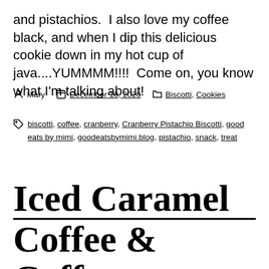and pistachios.  I also love my coffee black, and when I dip this delicious cookie down in my hot cup of java....YUMMMM!!!!  Come on, you know what I'm talking about!
Post author: Mary  Date: December 18, 2020  Categories: Biscotti, Cookies
Tags: biscotti, coffee, cranberry, Cranberry Pistachio Biscotti, good eats by mimi, goodeatsbymimi.blog, pistachio, snack, treat
Iced Caramel Coffee & Coffee